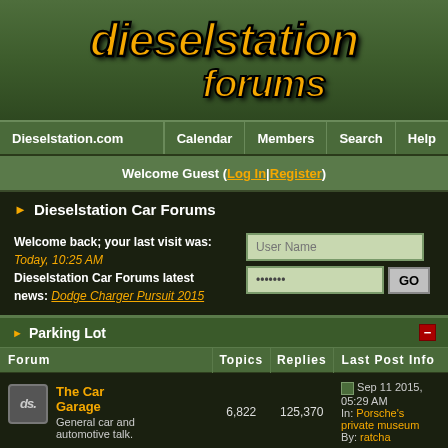[Figure (logo): Dieselstation Forums logo with orange italic text on green gradient background]
Dieselstation.com | Calendar | Members | Search | Help
Welcome Guest ( Log In | Register )
► Dieselstation Car Forums
Welcome back; your last visit was:
Today, 10:25 AM
Dieselstation Car Forums latest news: Dodge Charger Pursuit 2015
▸ Parking Lot
| Forum | Topics | Replies | Last Post Info |
| --- | --- | --- | --- |
| The Car Garage
General car and automotive talk. | 6,822 | 125,370 | Sep 11 2015, 05:29 AM
In: Porsche's private museum
By: ratcha |
| Off Topic
Off Topic talk about anything | — | 115,000 | Feb 19 2020, 04:47 PM
In: ... |